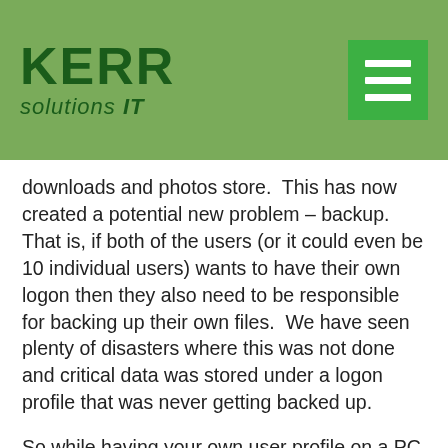KERR solutions IT
downloads and photos store.  This has now created a potential new problem – backup.  That is, if both of the users (or it could even be 10 individual users) wants to have their own logon then they also need to be responsible for backing up their own files.  We have seen plenty of disasters where this was not done and critical data was stored under a logon profile that was never getting backed up.
So while having your own user profile on a PC is a 'nice to have' keep in mind that you need to be making a regular and full back up of all of your won files and if a reformat of the PC is